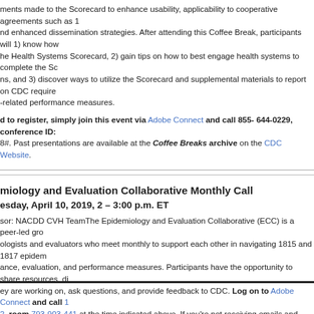ments made to the Scorecard to enhance usability, applicability to cooperative agreements such as 1 and enhanced dissemination strategies. After attending this Coffee Break, participants will 1) know how the Health Systems Scorecard, 2) gain tips on how to best engage health systems to complete the Sc ns, and 3) discover ways to utilize the Scorecard and supplemental materials to report on CDC require -related performance measures.
d to register, simply join this event via Adobe Connect and call 855- 644-0229, conference ID: 8#. Past presentations are available at the Coffee Breaks archive on the CDC Website.
miology and Evaluation Collaborative Monthly Call
esday, April 10, 2019, 2 – 3:00 p.m. ET
sor: NACDD CVH TeamThe Epidemiology and Evaluation Collaborative (ECC) is a peer-led gro ologists and evaluators who meet monthly to support each other in navigating 1815 and 1817 epidem ance, evaluation, and performance measures. Participants have the opportunity to share resources, di ey are working on, ask questions, and provide feedback to CDC. Log on to Adobe Connect and call 2, room 793-903-441 at the time indicated above. If you're not receiving emails and agendas from therine Jones about EEC meetings, join our listserv by emailing mcjones@chronicdisease.org.